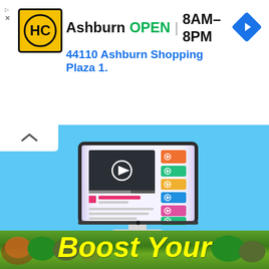[Figure (screenshot): Ad banner for Hairclub (HC) showing: HC logo (yellow circle with HC text), business name Ashburn, OPEN status in green, hours 8AM-8PM, address 44110 Ashburn Shopping Plaza 1., navigation arrow icon, ad disclosure triangle with X]
[Figure (illustration): Computer monitor illustration on light blue background showing a video player interface with play button, colorful sidebar buttons (orange, green, yellow, blue, pink, green), content blocks, and text lines below. A collapse/up-arrow button is in the top left corner.]
[Figure (photo): Bottom strip showing trees/forest scene with yellow italic bold text reading 'Boost Your' overlaid on a green background]